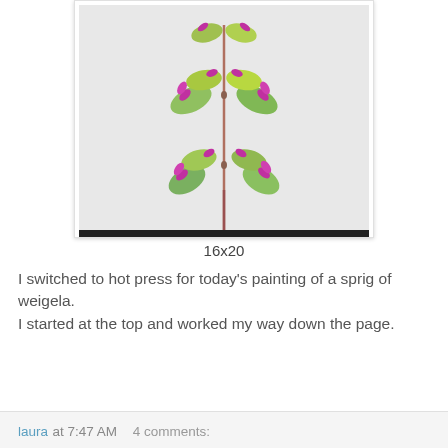[Figure (illustration): Watercolor botanical illustration of a sprig of weigela with pink/magenta flowers and green leaves on a pale grey background]
16x20
I switched to hot press for today's painting of a sprig of weigela.
I started at the top and worked my way down the page.
laura at 7:47 AM    4 comments: